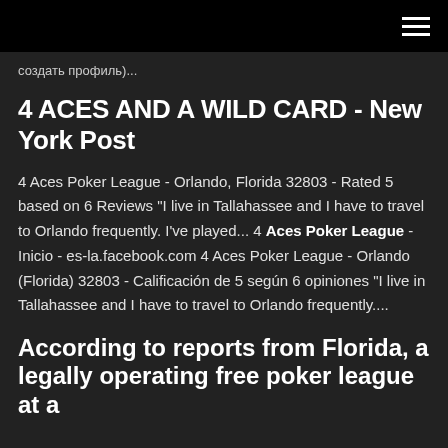создать профиль)...
4 ACES AND A WILD CARD - New York Post
4 Aces Poker League - Orlando, Florida 32803 - Rated 5 based on 6 Reviews "I live in Tallahassee and I have to travel to Orlando frequently. I've played... 4 Aces Poker League - Inicio - es-la.facebook.com 4 Aces Poker League - Orlando (Florida) 32803 - Calificación de 5 según 6 opiniones "I live in Tallahassee and I have to travel to Orlando frequently....
According to reports from Florida, a legally operating free poker league at a